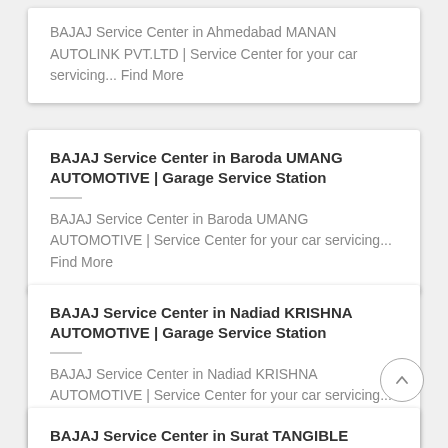BAJAJ Service Center in Ahmedabad MANAN AUTOLINK PVT.LTD | Service Center for your car servicing... Find More
BAJAJ Service Center in Baroda UMANG AUTOMOTIVE | Garage Service Station
BAJAJ Service Center in Baroda UMANG AUTOMOTIVE | Service Center for your car servicing... Find More
BAJAJ Service Center in Nadiad KRISHNA AUTOMOTIVE | Garage Service Station
BAJAJ Service Center in Nadiad KRISHNA AUTOMOTIVE | Service Center for your car servicing... Find More
BAJAJ Service Center in Surat TANGIBLE AUTOMOBILES | Garage Service Station